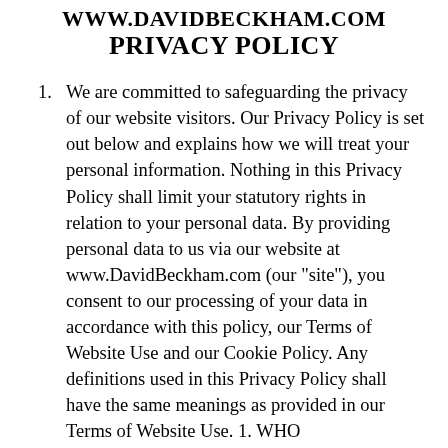WWW.DAVIDBECKHAM.COM PRIVACY POLICY
We are committed to safeguarding the privacy of our website visitors. Our Privacy Policy is set out below and explains how we will treat your personal information. Nothing in this Privacy Policy shall limit your statutory rights in relation to your personal data. By providing personal data to us via our website at www.DavidBeckham.com (our "site"), you consent to our processing of your data in accordance with this policy, our Terms of Website Use and our Cookie Policy. Any definitions used in this Privacy Policy shall have the same meanings as provided in our Terms of Website Use. 1. WHO